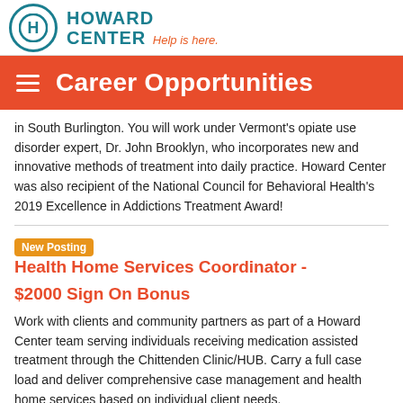Howard Center Help is here.
Career Opportunities
in South Burlington. You will work under Vermont's opiate use disorder expert, Dr. John Brooklyn, who incorporates new and innovative methods of treatment into daily practice. Howard Center was also recipient of the National Council for Behavioral Health's 2019 Excellence in Addictions Treatment Award!
New Posting  Health Home Services Coordinator - $2000 Sign On Bonus
Work with clients and community partners as part of a Howard Center team serving individuals receiving medication assisted treatment through the Chittenden Clinic/HUB. Carry a full case load and deliver comprehensive case management and health home services based on individual client needs.